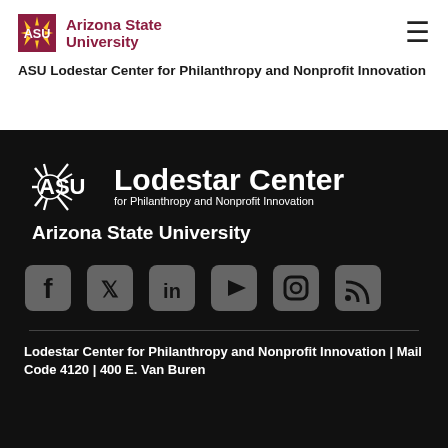[Figure (logo): ASU logo with Arizona State University wordmark in maroon]
ASU Lodestar Center for Philanthropy and Nonprofit Innovation
[Figure (logo): ASU Lodestar Center for Philanthropy and Nonprofit Innovation logo in white on dark background, with Arizona State University below]
[Figure (infographic): Social media icons row: Facebook, Twitter, LinkedIn, YouTube, Instagram, RSS — grey on dark background]
Lodestar Center for Philanthropy and Nonprofit Innovation | Mail Code 4120 | 400 E. Van Buren